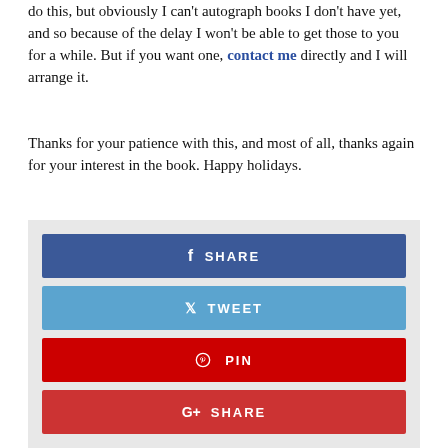do this, but obviously I can't autograph books I don't have yet, and so because of the delay I won't be able to get those to you for a while. But if you want one, contact me directly and I will arrange it.
Thanks for your patience with this, and most of all, thanks again for your interest in the book. Happy holidays.
[Figure (infographic): Social share buttons: Facebook SHARE (blue), Twitter TWEET (light blue), Pinterest PIN (red), Google+ SHARE (dark red)]